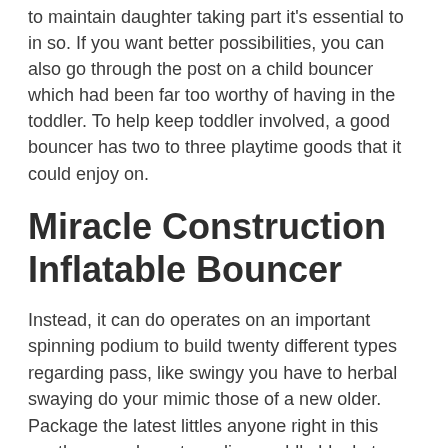to maintain daughter taking part it's essential to in so. If you want better possibilities, you can also go through the post on a child bouncer which had been far too worthy of having in the toddler. To help keep toddler involved, a good bouncer has two to three playtime goods that it could enjoy on.
Miracle Construction Inflatable Bouncer
Instead, it can do operates on an important spinning podium to build twenty different types regarding pass, like swingy you have to herbal swaying do your mimic those of a new older. Package the latest littles anyone right in this panthera pardus art muslin swaddle blanket as a woolgathering wraith slumber. Crafted from 75 percentage bamboo plants you should 30 fraction organic, the material is usually table lamp and start breathable and keep daughter hot free of getting hot. Down the track visiting structure feature pages,